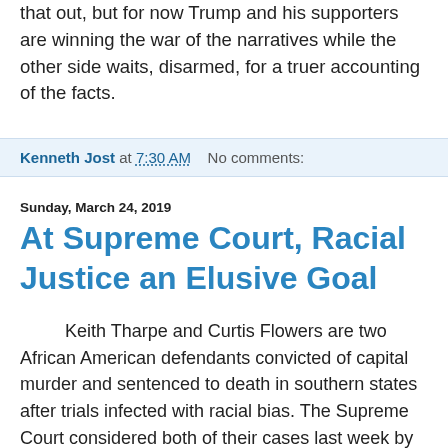that out, but for now Trump and his supporters are winning the war of the narratives while the other side waits, disarmed, for a truer accounting of the facts.
Kenneth Jost at 7:30 AM   No comments:
Sunday, March 24, 2019
At Supreme Court, Racial Justice an Elusive Goal
Keith Tharpe and Curtis Flowers are two African American defendants convicted of capital murder and sentenced to death in southern states after trials infected with racial bias. The Supreme Court considered both of their cases last week by ending Tharpe's effort to overturn his conviction [March 17] while appearing receptive during arguments [March 19] on Flowers' plea for a new trial based on the white prosecutor's blatant racial bias in jury selection.
    The two Supreme Court cases, with one loss for racial justice and a potential vindication for racial justice in the oth...